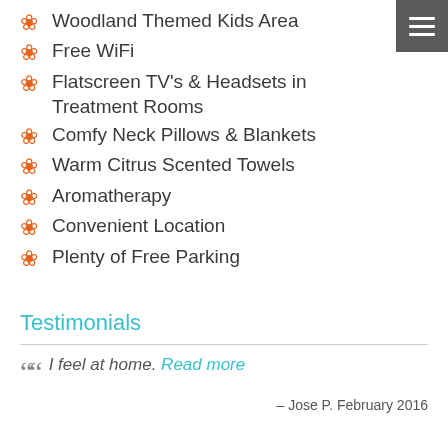Woodland Themed Kids Area
Free WiFi
Flatscreen TV's & Headsets in Treatment Rooms
Comfy Neck Pillows & Blankets
Warm Citrus Scented Towels
Aromatherapy
Convenient Location
Plenty of Free Parking
Testimonials
I feel at home. Read more – Jose P. February 2016